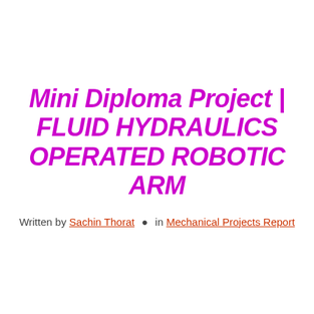Mini Diploma Project | FLUID HYDRAULICS OPERATED ROBOTIC ARM
Written by Sachin Thorat • in Mechanical Projects Report